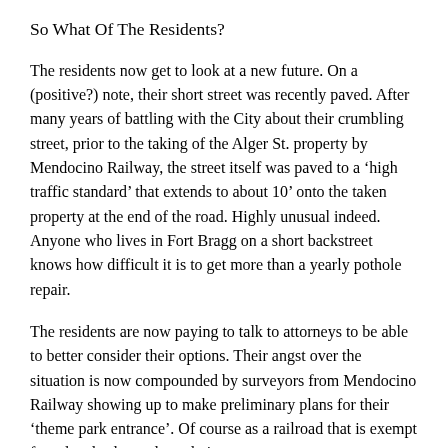So What Of The Residents?
The residents now get to look at a new future. On a (positive?) note, their short street was recently paved. After many years of battling with the City about their crumbling street, prior to the taking of the Alger St. property by Mendocino Railway, the street itself was paved to a ‘high traffic standard’ that extends to about 10’ onto the taken property at the end of the road. Highly unusual indeed. Anyone who lives in Fort Bragg on a short backstreet knows how difficult it is to get more than a yearly pothole repair.
The residents are now paying to talk to attorneys to be able to better consider their options. Their angst over the situation is now compounded by surveyors from Mendocino Railway showing up to make preliminary plans for their ‘theme park entrance’. Of course as a railroad that is exempt from local rules and regulations